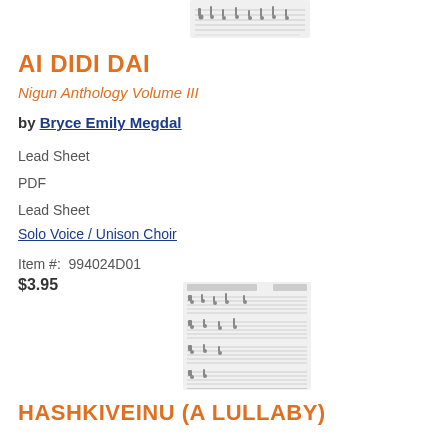[Figure (illustration): Small thumbnail image of sheet music notation at top center]
AI DIDI DAI
Nigun Anthology Volume III
by Bryce Emily Megdal
Lead Sheet
PDF
Lead Sheet
Solo Voice / Unison Choir
Item #:  994024D01
$3.95
[Figure (illustration): Small thumbnail image of sheet music notation for Hashkiveinu (A Lullaby)]
HASHKIVEINU (A LULLABY)